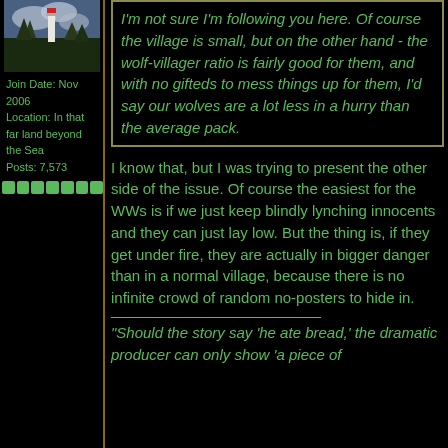[Figure (photo): Avatar image of a lighthouse or similar scene with trees and cloudy sky]
Join Date: Nov 2006
Location: In that far land beyond the Sea
Posts: 7,573
[Figure (other): Row of 7 green reputation dots/icons]
I'm not sure I'm following you here. Of course the village is small, but on the other hand - the wolf-villager ratio is fairly good for them, and with no gifteds to mess things up for them, I'd say our wolves are a lot less in a hurry than the average pack.
I know that, but I was trying to present the other side of the issue. Of course the easiest for the WWs is if we just keep blindly lynching innocents and they can just lay low. But the thing is, if they get under fire, they are actually in bigger danger than in a normal village, because there is no infinite crowd of random no-posters to hide in.
"Should the story say 'he ate bread,' the dramatic producer can only show 'a piece of